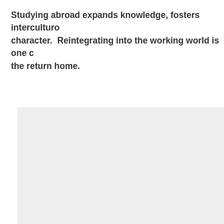Studying abroad expands knowledge, fosters intercultural character.  Reintegrating into the working world is one of the return home.
[Figure (photo): A light gray rectangular image placeholder occupying the lower portion of the page.]